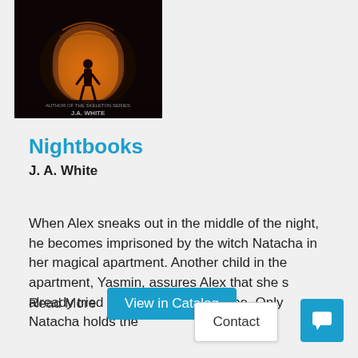[Figure (photo): Book cover of Nightbooks by J. A. White showing a silhouette of a child standing in a doorway with orange/brown tones]
Nightbooks
J. A. White
When Alex sneaks out in the middle of the night, he becomes imprisoned by the witch Natacha in her magical apartment. Another child in the apartment, Yasmin, assures Alex that she s already tried every means of escape. Only Natacha holds the
Read More  View in Catalog
Contact